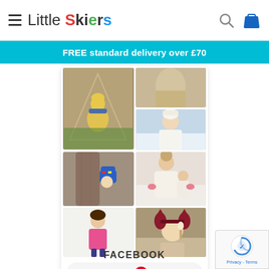Little Skiers — navigation header with logo, search and bag icons
FREE standard delivery over £70
[Figure (photo): Pinterest photo grid showing children and people in winter clothing and accessories, with a 'FOLLOW ON Pinterest' button below]
FACEBOOK